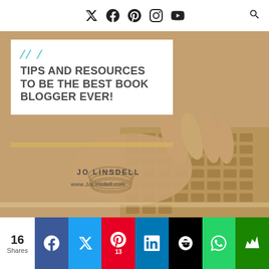Social media navigation icons and search
[Figure (photo): Hero image of a woman's hand with bracelets and rings typing on a laptop keyboard, with warm sepia/golden tone overlay. Contains a white card overlay with title text 'TIPS AND RESOURCES TO BE THE BEST BOOK BLOGGER EVER!' and author attribution 'JO LINSDELL' and 'www.JoLinsdell.com']
TIPS AND RESOURCES TO BE THE BEST BOOK BLOGGER EVER!
JO LINSDELL
www.JoLinsdell.com
16 Shares